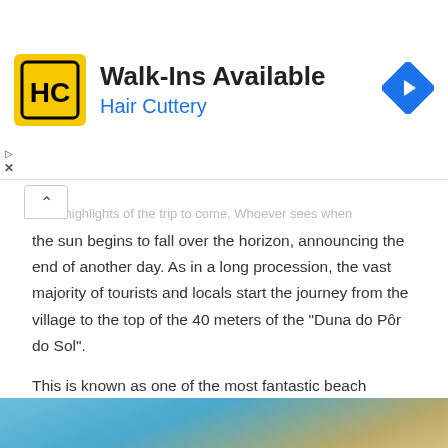[Figure (other): Hair Cuttery advertisement banner with logo, 'Walk-Ins Available' headline, 'Hair Cuttery' subtitle in blue, and a blue navigation arrow icon]
...the highlights of the trip to come, Whoever sees when the sun begins to fall over the horizon, announcing the end of another day. As in a long procession, the vast majority of tourists and locals start the journey from the village to the top of the 40 meters of the "Duna do Pôr do Sol".
This is known as one of the most fantastic beach destinations in the country, in addition to exploring dunes and enjoying refreshing saltwater baths, you can visit some of the most idyllic lagoons in the country, including Lagoa do Paraíso, a place that brilliantly lives up to to your name.
Foz do Iguaçu and the Triple Frontier in Paraná
[Figure (photo): Partial photo at bottom showing sky and landscape near Foz do Iguaçu]